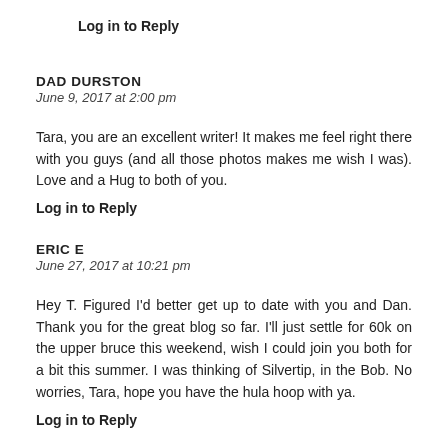Log in to Reply
DAD DURSTON
June 9, 2017 at 2:00 pm
Tara, you are an excellent writer! It makes me feel right there with you guys (and all those photos makes me wish I was). Love and a Hug to both of you.
Log in to Reply
ERIC E
June 27, 2017 at 10:21 pm
Hey T. Figured I'd better get up to date with you and Dan. Thank you for the great blog so far. I'll just settle for 60k on the upper bruce this weekend, wish I could join you both for a bit this summer. I was thinking of Silvertip, in the Bob. No worries, Tara, hope you have the hula hoop with ya.
Log in to Reply